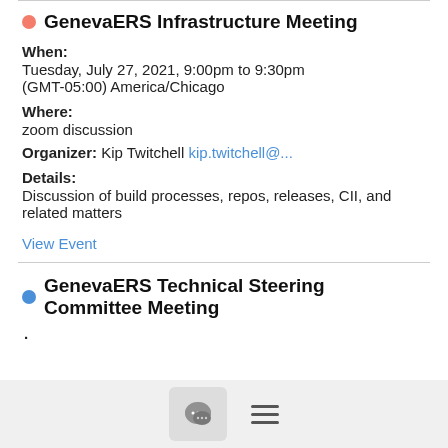GenevaERS Infrastructure Meeting
When:
Tuesday, July 27, 2021, 9:00pm to 9:30pm
(GMT-05:00) America/Chicago
Where:
zoom discussion
Organizer: Kip Twitchell kip.twitchell@...
Details:
Discussion of build processes, repos, releases, CII, and related matters
View Event
GenevaERS Technical Steering Committee Meeting